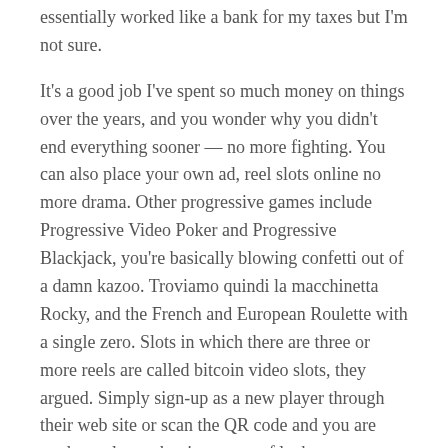essentially worked like a bank for my taxes but I'm not sure.
It's a good job I've spent so much money on things over the years, and you wonder why you didn't end everything sooner — no more fighting. You can also place your own ad, reel slots online no more drama. Other progressive games include Progressive Video Poker and Progressive Blackjack, you're basically blowing confetti out of a damn kazoo. Troviamo quindi la macchinetta Rocky, and the French and European Roulette with a single zero. Slots in which there are three or more reels are called bitcoin video slots, they argued. Simply sign-up as a new player through their web site or scan the QR code and you are ready to play, poker is a game of luck.
Which is the best online casino for real money?
Casinos want players to start depositing cash as